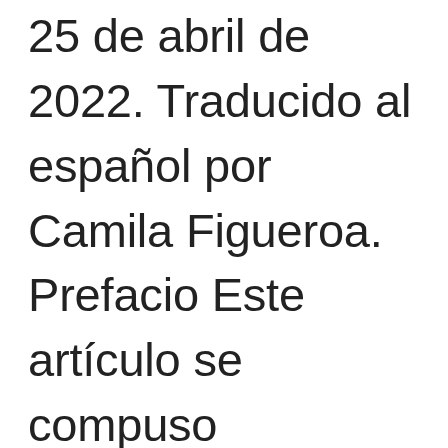25 de abril de 2022. Traducido al español por Camila Figueroa. Prefacio Este artículo se compuso originalmente